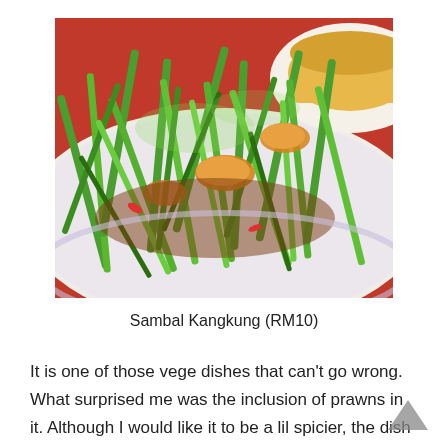[Figure (photo): Close-up photograph of Sambal Kangkung dish — stir-fried water spinach with prawns and sambal sauce on a plate, with another dish visible in the background on a red tablecloth.]
Sambal Kangkung (RM10)
It is one of those vege dishes that can't go wrong. What surprised me was the inclusion of prawns in it. Although I would like it to be a lil spicier, the dish was a lil salty, probably